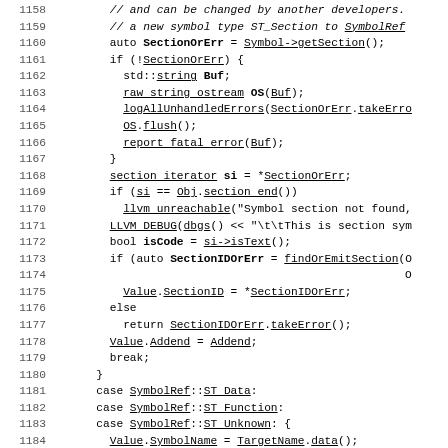Code listing lines 1158-1187 showing C++ source code for symbol section handling
[Figure (screenshot): C++ source code snippet with line numbers 1158-1187 showing symbol section handling logic including SectionOrErr, section_iterator, isCode, SectionIDOrErr, and SymbolRef cases]